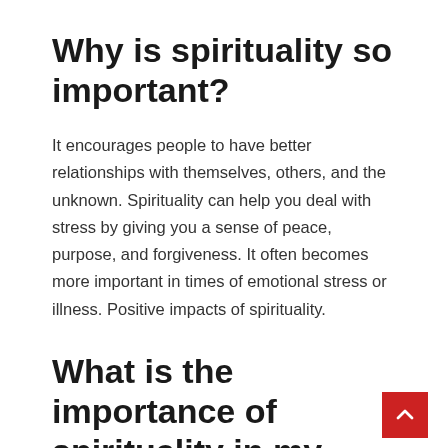Why is spirituality so important?
It encourages people to have better relationships with themselves, others, and the unknown. Spirituality can help you deal with stress by giving you a sense of peace, purpose, and forgiveness. It often becomes more important in times of emotional stress or illness. Positive impacts of spirituality.
What is the importance of spirituality in my life?
Healthy spirituality gives a sense of…